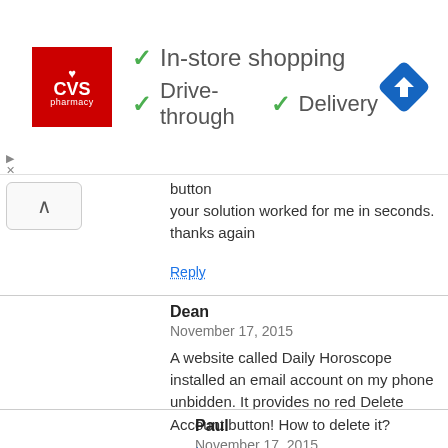[Figure (screenshot): CVS Pharmacy advertisement banner showing red CVS logo and green checkmarks next to 'In-store shopping', 'Drive-through', and 'Delivery' text, with a blue navigation icon on the right]
button
your solution worked for me in seconds.
thanks again
Reply
Dean
November 17, 2015

A website called Daily Horoscope installed an email account on my phone unbidden. It provides no red Delete Account button! How to delete it?
Reply
Paul
November 17, 2015

Here is how you can delete the Daily Horoscope email account on the iPhone, you have to go to the following steps which are different from